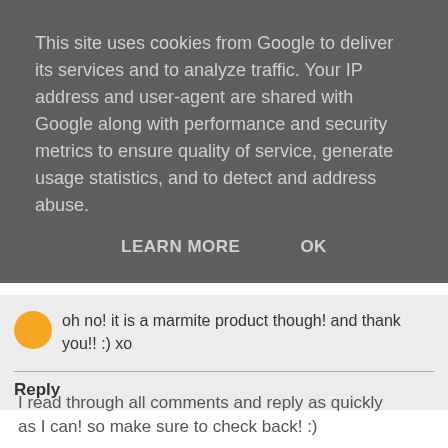This site uses cookies from Google to deliver its services and to analyze traffic. Your IP address and user-agent are shared with Google along with performance and security metrics to ensure quality of service, generate usage statistics, and to detect and address abuse.
LEARN MORE   OK
oh no! it is a marmite product though! and thank you!! :) xo
Reply
To leave a comment, click the button below to sign in with Google.
SIGN IN WITH GOOGLE
I read through all comments and reply as quickly as I can! so make sure to check back! :)